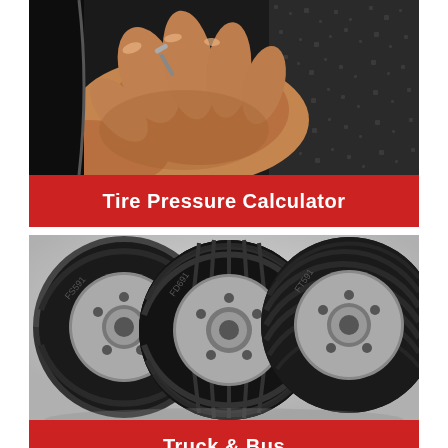[Figure (photo): Close-up photo of hands checking or adjusting a tire valve stem with a tool]
Tire Pressure Calculator
[Figure (photo): Three commercial truck/bus tires displayed side by side against a light background]
Truck & Bus